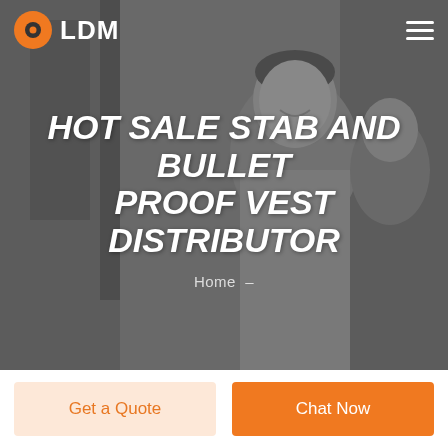LDM
[Figure (photo): Grayscale background photo of a smiling man with dark hair, with an orange and gray overlay]
HOT SALE STAB AND BULLET PROOF VEST DISTRIBUTOR
Home  -
Get a Quote
Chat Now